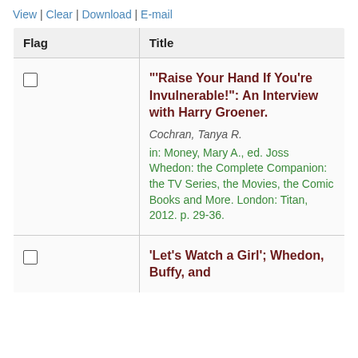View | Clear | Download | E-mail
| Flag | Title |
| --- | --- |
| ☐ | "'Raise Your Hand If You're Invulnerable!": An Interview with Harry Groener.
Cochran, Tanya R.
in: Money, Mary A., ed. Joss Whedon: the Complete Companion: the TV Series, the Movies, the Comic Books and More. London: Titan, 2012. p. 29-36. |
| ☐ | 'Let's Watch a Girl'; Whedon, Buffy, and |